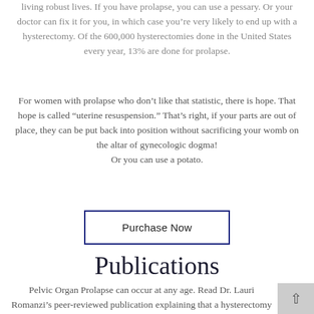living robust lives. If you have prolapse, you can use a pessary. Or your doctor can fix it for you, in which case you're very likely to end up with a hysterectomy. Of the 600,000 hysterectomies done in the United States every year, 13% are done for prolapse.
For women with prolapse who don’t like that statistic, there is hope. That hope is called "uterine resuspension." That’s right, if your parts are out of place, they can be put back into position without sacrificing your womb on the altar of gynecologic dogma!
Or you can use a potato.
[Figure (other): Purchase Now button with dark blue border]
Publications
Pelvic Organ Prolapse can occur at any age. Read Dr. Lauri Romanzi’s peer-reviewed publication explaining that a hysterectomy is not necessary for a woman with